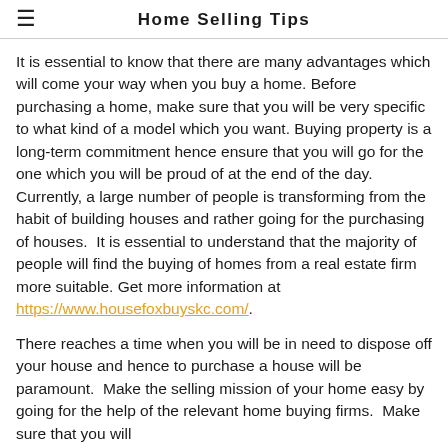Home Selling Tips
It is essential to know that there are many advantages which will come your way when you buy a home. Before purchasing a home, make sure that you will be very specific to what kind of a model which you want. Buying property is a long-term commitment hence ensure that you will go for the one which you will be proud of at the end of the day.  Currently, a large number of people is transforming from the habit of building houses and rather going for the purchasing of houses.  It is essential to understand that the majority of people will find the buying of homes from a real estate firm more suitable. Get more information at https://www.housefoxbuyskc.com/.
There reaches a time when you will be in need to dispose off your house and hence to purchase a house will be paramount.  Make the selling mission of your home easy by going for the help of the relevant home buying firms.  Make sure that you will
I BUILT MY SITE FOR FREE USING  SITE123